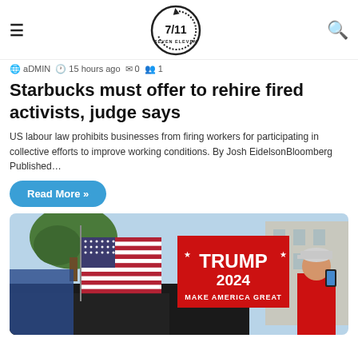7/11 SEVEN ELEVEN
aDMIN  15 hours ago  0  1
Starbucks must offer to rehire fired activists, judge says
US labour law prohibits businesses from firing workers for participating in collective efforts to improve working conditions. By Josh EidelsonBloomberg Published…
Read More »
[Figure (photo): Photo of a Trump 2024 rally with American flag and a Trump 2024 'Make America Great' flag on vehicles, with a person in a red shirt holding a phone in the foreground.]